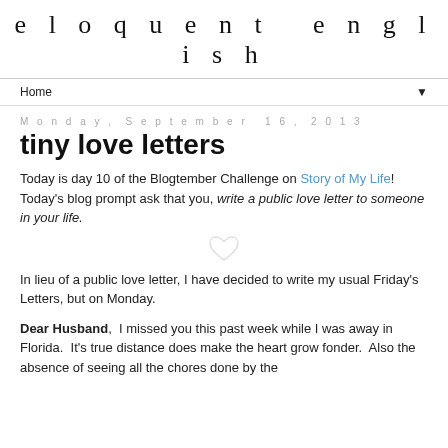eloquent english
Home ▼
Monday, September 16, 2013
tiny love letters
Today is day 10 of the Blogtember Challenge on Story of My Life!   Today's blog prompt ask that you, write a public love letter to someone in your life.
[Figure (illustration): Small heart or decorative image placeholder]
In lieu of a public love letter, I have decided to write my usual Friday's Letters, but on Monday.
Dear Husband,  I missed you this past week while I was away in Florida.  It's true distance does make the heart grow fonder.  Also the absence of seeing all the chores done by the